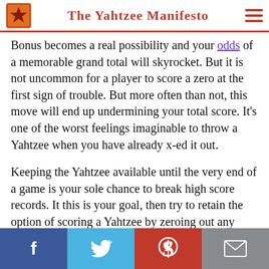The Yahtzee Manifesto
Bonus becomes a real possibility and your odds of a memorable grand total will skyrocket. But it is not uncommon for a player to score a zero at the first sign of trouble. But more often than not, this move will end up undermining your total score. It’s one of the worst feelings imaginable to throw a Yahtzee when you have already x-ed it out.
Keeping the Yahtzee available until the very end of a game is your sole chance to break high score records. It this is your goal, then try to retain the option of scoring a Yahtzee by zeroing out any other scoring category and preserve the possibility of pulling out a spectacular finish.
[Figure (infographic): Social sharing bar with Facebook, Twitter, Pinterest, and email buttons at the bottom of the page]